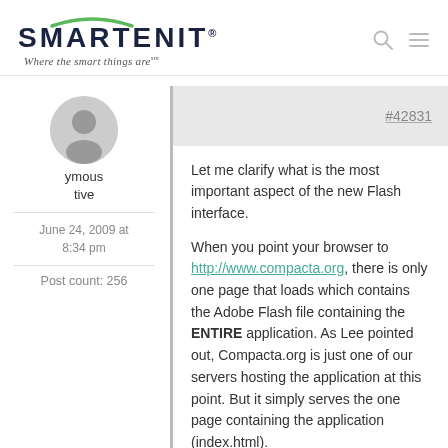[Figure (logo): SMARTENIT logo with arc above, tagline 'Where the smart things are']
Anonymous
native
June 24, 2009 at 8:34 pm
Post count: 256
#42831
Let me clarify what is the most important aspect of the new Flash interface.

When you point your browser to http://www.compacta.org, there is only one page that loads which contains the Adobe Flash file containing the ENTIRE application. As Lee pointed out, Compacta.org is just one of our servers hosting the application at this point. But it simply serves the one page containing the application (index.html).